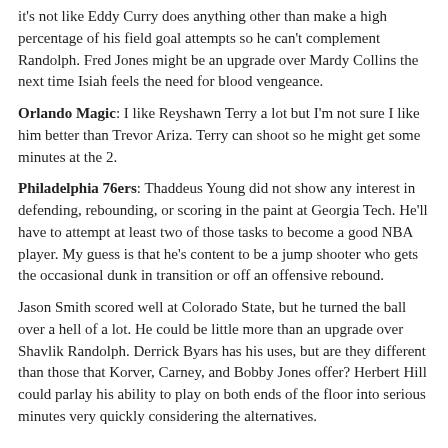it's not like Eddy Curry does anything other than make a high percentage of his field goal attempts so he can't complement Randolph. Fred Jones might be an upgrade over Mardy Collins the next time Isiah feels the need for blood vengeance.
Orlando Magic: I like Reyshawn Terry a lot but I'm not sure I like him better than Trevor Ariza. Terry can shoot so he might get some minutes at the 2.
Philadelphia 76ers: Thaddeus Young did not show any interest in defending, rebounding, or scoring in the paint at Georgia Tech. He'll have to attempt at least two of those tasks to become a good NBA player. My guess is that he's content to be a jump shooter who gets the occasional dunk in transition or off an offensive rebound.
Jason Smith scored well at Colorado State, but he turned the ball over a hell of a lot. He could be little more than an upgrade over Shavlik Randolph. Derrick Byars has his uses, but are they different than those that Korver, Carney, and Bobby Jones offer? Herbert Hill could parlay his ability to play on both ends of the floor into serious minutes very quickly considering the alternatives.